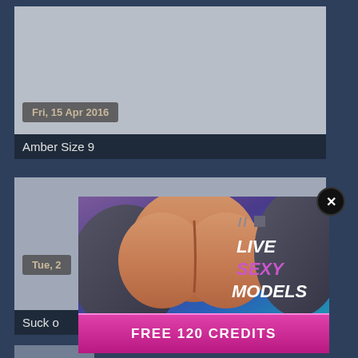[Figure (screenshot): Thumbnail image placeholder with light gray background for a video or photo post dated Fri, 15 Apr 2016]
Fri, 15 Apr 2016
Amber Size 9
[Figure (photo): Partially visible thumbnail for a post dated Tue, 2...]
Tue, 2...
Suck o...
[Figure (advertisement): Popup advertisement overlay showing 'LIVE // SEXY MODELS' with a FREE 120 CREDITS button and a close X button]